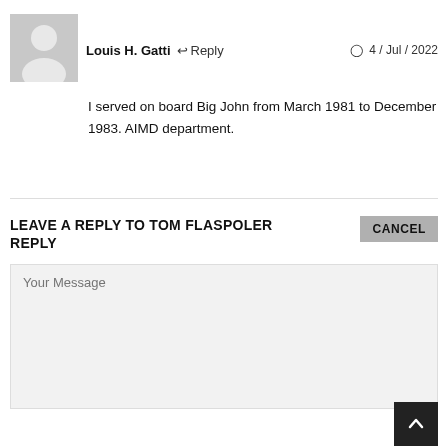Louis H. Gatti  ↩ Reply  🕐 4 / Jul / 2022
[Figure (illustration): Gray placeholder avatar with person silhouette icon]
I served on board Big John from March 1981 to December 1983. AIMD department.
LEAVE A REPLY TO TOM FLASPOLER REPLY
CANCEL
Your Message